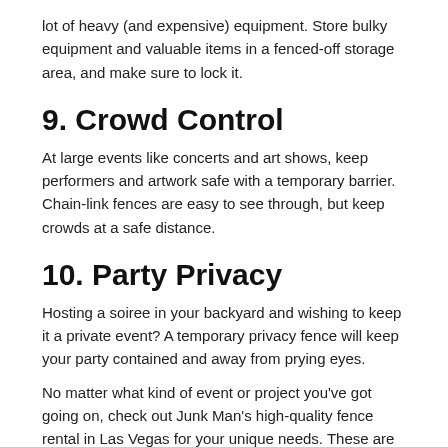lot of heavy (and expensive) equipment. Store bulky equipment and valuable items in a fenced-off storage area, and make sure to lock it.
9. Crowd Control
At large events like concerts and art shows, keep performers and artwork safe with a temporary barrier. Chain-link fences are easy to see through, but keep crowds at a safe distance.
10. Party Privacy
Hosting a soiree in your backyard and wishing to keep it a private event? A temporary privacy fence will keep your party contained and away from prying eyes.
No matter what kind of event or project you've got going on, check out Junk Man's high-quality fence rental in Las Vegas for your unique needs. These are ten things you didn't know you can do with fence rental; maybe some of these points will inspire you!